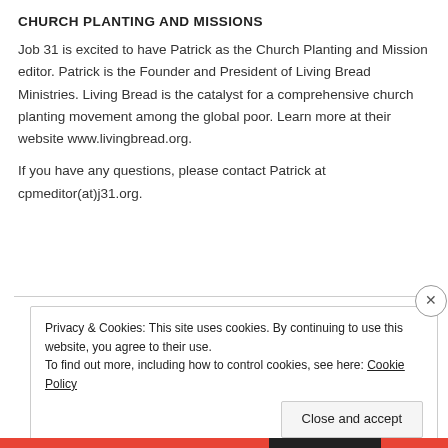CHURCH PLANTING AND MISSIONS
Job 31 is excited to have Patrick as the Church Planting and Mission editor. Patrick is the Founder and President of Living Bread Ministries. Living Bread is the catalyst for a comprehensive church planting movement among the global poor. Learn more at their website www.livingbread.org.
If you have any questions, please contact Patrick at cpmeditor(at)j31.org.
Privacy & Cookies: This site uses cookies. By continuing to use this website, you agree to their use.
To find out more, including how to control cookies, see here: Cookie Policy
Close and accept